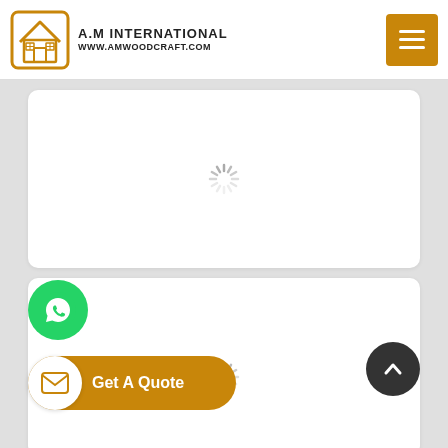[Figure (logo): A.M International logo with house icon and website www.amwoodcraft.com]
[Figure (screenshot): Loading spinner on white card (card 1)]
[Figure (screenshot): Loading spinner on white card (card 2)]
[Figure (infographic): WhatsApp floating button (green circle)]
[Figure (infographic): Get A Quote button (brown pill with email icon)]
[Figure (infographic): Scroll to top button (dark circle with up chevron)]